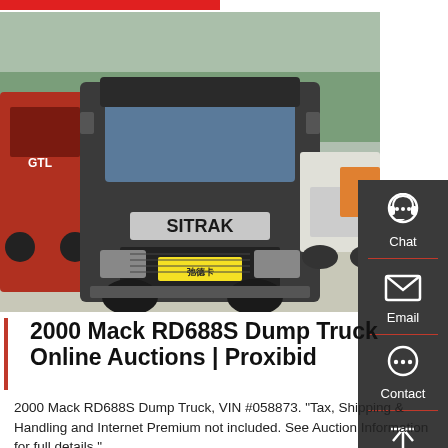[Figure (photo): Photograph of a SITRAK dump truck (dark/black) viewed from the front, parked in a lot surrounded by other trucks including a red truck on the left and another truck on the right, with trees in the background.]
2000 Mack RD688S Dump Truck Online Auctions | Proxibid
2000 Mack RD688S Dump Truck, VIN #058873. "Tax, Shipping & Handling and Internet Premium not included. See Auction Information for full details."